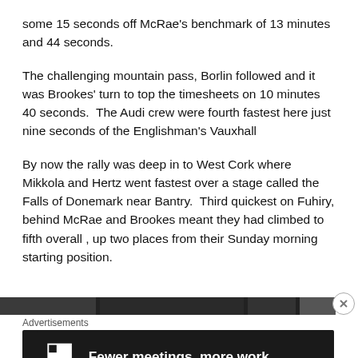some 15 seconds off McRae's benchmark of 13 minutes and 44 seconds.
The challenging mountain pass, Borlin followed and it was Brookes' turn to top the timesheets on 10 minutes 40 seconds.  The Audi crew were fourth fastest here just nine seconds of the Englishman's Vauxhall
By now the rally was deep in to West Cork where Mikkola and Hertz went fastest over a stage called the Falls of Donemark near Bantry.  Third quickest on Fuhiry, behind McRae and Brookes meant they had climbed to fifth overall , up two places from their Sunday morning starting position.
[Figure (photo): A dark banner image strip partially visible]
Advertisements
[Figure (infographic): Advertisement banner: F2 logo with text 'Fewer meetings, more work.' on dark background]